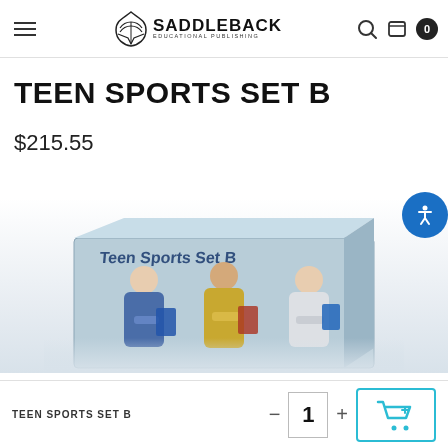Saddleback Educational Publishing
TEEN SPORTS SET B
$215.55
[Figure (photo): Product box image for Teen Sports Set B showing teenagers reading books, with the box cover partially visible.]
TEEN SPORTS SET B  −  1  +  [Add to Cart]